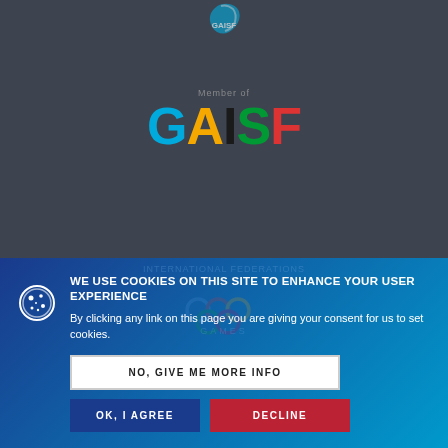[Figure (logo): Small GAISF bird/wing logo at top center of dark background]
[Figure (logo): GAISF logo with colorful letters (G in blue, A in yellow, I in black, S in green, F in red) with 'Member of' text above, on dark background]
WE USE COOKIES ON THIS SITE TO ENHANCE YOUR USER EXPERIENCE
By clicking any link on this page you are giving your consent for us to set cookies.
NO, GIVE ME MORE INFO
OK, I AGREE
DECLINE